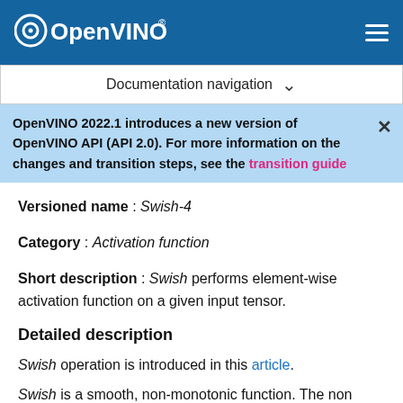OpenVINO
Documentation navigation
OpenVINO 2022.1 introduces a new version of OpenVINO API (API 2.0). For more information on the changes and transition steps, see the transition guide
Versioned name : Swish-4
Category : Activation function
Short description : Swish performs element-wise activation function on a given input tensor.
Detailed description
Swish operation is introduced in this article.
Swish is a smooth, non-monotonic function. The non